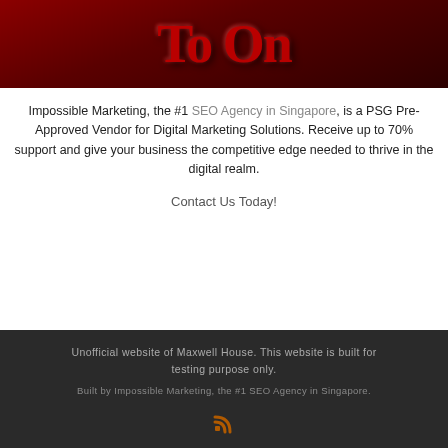[Figure (photo): Dark red gradient banner image with large embossed/metallic text partially visible at top]
Impossible Marketing, the #1 SEO Agency in Singapore, is a PSG Pre-Approved Vendor for Digital Marketing Solutions. Receive up to 70% support and give your business the competitive edge needed to thrive in the digital realm.
Contact Us Today!
Unofficial website of Maxwell House. This website is built for testing purpose only.
Built by Impossible Marketing, the #1 SEO Agency in Singapore.